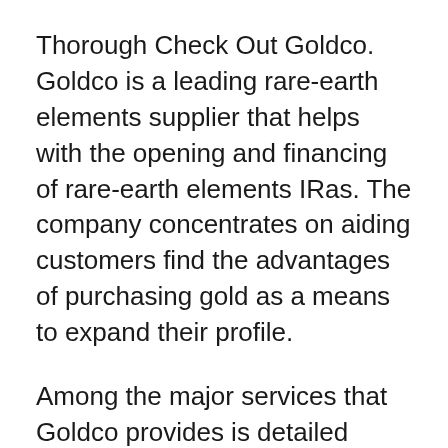Thorough Check Out Goldco. Goldco is a leading rare-earth elements supplier that helps with the opening and financing of rare-earth elements IRas. The company concentrates on aiding customers find the advantages of purchasing gold as a means to expand their profile.
Among the major services that Goldco provides is detailed instructional details on investing in gold as well as starting a gold IRA. This information is invaluable for both brand-new and skilled investors. Since the Great Economic downturn in 2008, the markets have actually been unstable at best. They may increase significantly on some days and drop dramatically on others. This